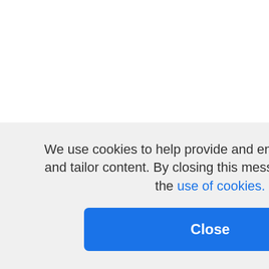in black entertainers, were a...
Russell Toppin, Sr. [00:38:4...
Mark Souther [00:38:49] --e...
Russell Toppin, Sr. [00:38:5...] Casino, you know, which wa... Corner Tavern, which was a... owned. What was it? It was-... The VFW club, I'm not really... manager, but it was under th... remember that one being th... Post 315, which is the Ameri... now that is serving alcohol d... down 105 and throw in a cou... a place where sold wine by t...
when you ta...
:40:23] Ve...
Sr. [00:40:...]
:40:28] W... r they were...
Sr. [00:40:...] was Jewish...
Mark Souther [00:40:46] Yo...
We use cookies to help provide and enhance our service and tailor content. By closing this message, you agree to the use of cookies.